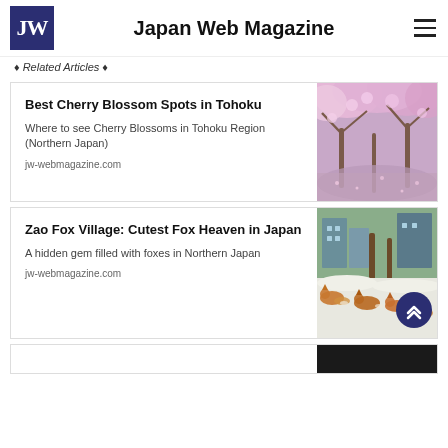Japan Web Magazine
♦ Related Articles ♦
Best Cherry Blossom Spots in Tohoku
Where to see Cherry Blossoms in Tohoku Region (Northern Japan)
jw-webmagazine.com
[Figure (photo): Cherry blossom trees with pink flowers over a river path in purple/pink tones]
Zao Fox Village: Cutest Fox Heaven in Japan
A hidden gem filled with foxes in Northern Japan
jw-webmagazine.com
[Figure (photo): Foxes resting in snow at Zao Fox Village in Northern Japan]